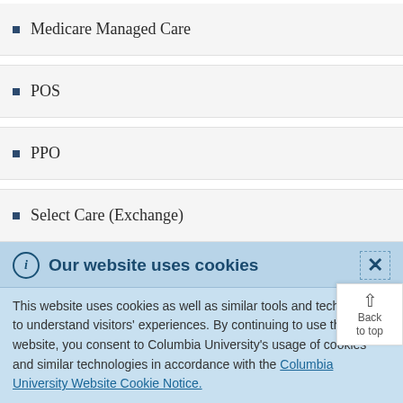Medicare Managed Care
POS
PPO
Select Care (Exchange)
Our website uses cookies
This website uses cookies as well as similar tools and technologies to understand visitors' experiences. By continuing to use this website, you consent to Columbia University's usage of cookies and similar technologies in accordance with the Columbia University Website Cookie Notice.